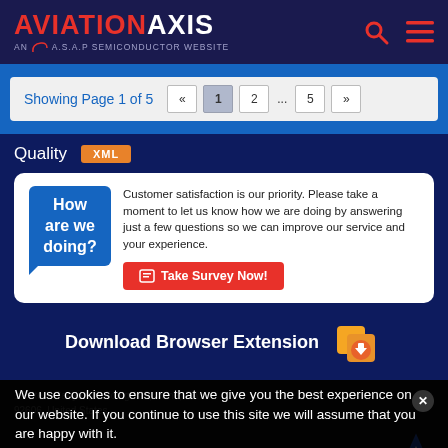AVIATION AXIS — AN A.S.A.P SEMICONDUCTOR WEBSITE
Showing Page 1 of 5
Quality
[Figure (other): XML badge button in orange/red]
Customer satisfaction is our priority. Please take a moment to let us know how we are doing by answering just a few questions so we can improve our service and your experience.
Take Survey Now!
Download Browser Extension
We use cookies to ensure that we give you the best experience on our website. If you continue to use this site we will assume that you are happy with it.
Yes, I Accept Cookies.